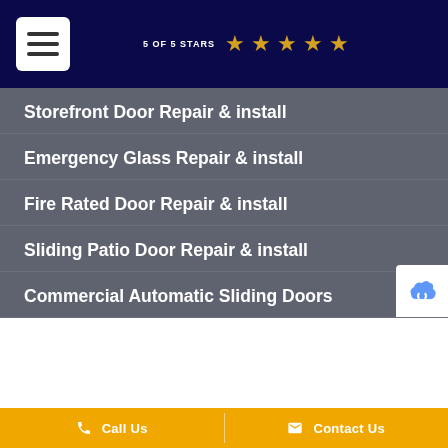5 OF 5 STARS ★★★★★
Storefront Door Repair & install
Emergency Glass Repair & install
Fire Rated Door Repair & install
Sliding Patio Door Repair & install
Commercial Automatic Sliding Doors
Call Us   Contact Us